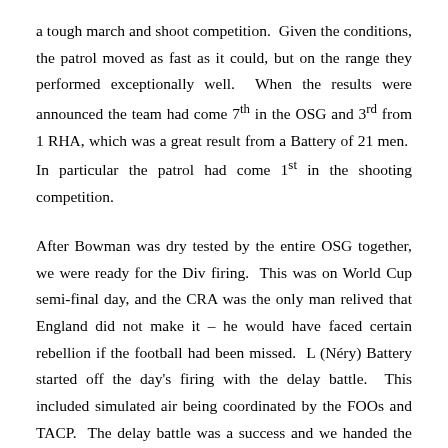a tough march and shoot competition.  Given the conditions, the patrol moved as fast as it could, but on the range they performed exceptionally well.  When the results were announced the team had come 7th in the OSG and 3rd from 1 RHA, which was a great result from a Battery of 21 men.  In particular the patrol had come 1st in the shooting competition.
After Bowman was dry tested by the entire OSG together, we were ready for the Div firing.  This was on World Cup semi-final day, and the CRA was the only man relived that England did not make it – he would have faced certain rebellion if the football had been missed.  L (Néry) Battery started off the day's firing with the delay battle.  This included simulated air being coordinated by the FOOs and TACP.  The delay battle was a success and we handed the battle over to B Battery for the next phase.  That evening R2 was chosen to conduct